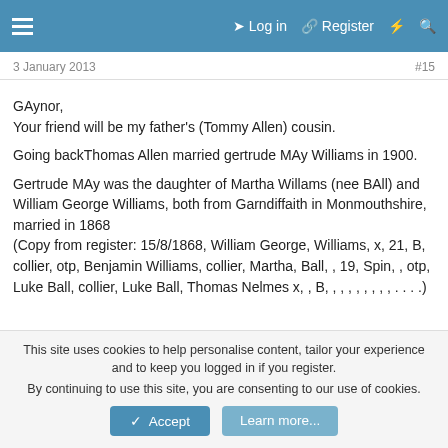≡  Log in  Register  ⚡  🔍
3 January 2013
#15
GAynor,
Your friend will be my father's (Tommy Allen) cousin.

Going backThomas Allen married gertrude MAy Williams in 1900.

Gertrude MAy was the daughter of Martha Willams (nee BAll) and William George Williams, both from Garndiffaith in Monmouthshire, married in 1868
(Copy from register: 15/8/1868, William George, Williams, x, 21, B, collier, otp, Benjamin Williams, collier, Martha, Ball, , 19, Spin, , otp, Luke Ball, collier, Luke Ball, Thomas Nelmes x, , B, , , , , , , , , . . . .)
This site uses cookies to help personalise content, tailor your experience and to keep you logged in if you register.
By continuing to use this site, you are consenting to our use of cookies.